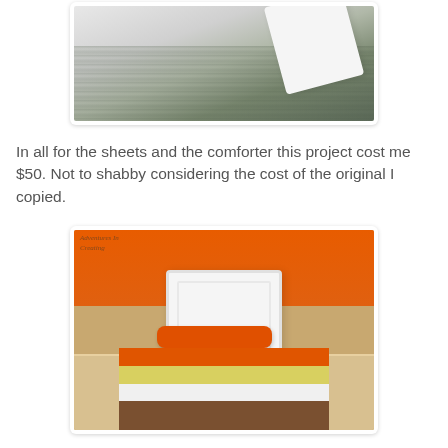[Figure (photo): Close-up photo of white fabric/sheets on a wood-grain surface, partial view from top]
In all for the sheets and the comforter this project cost me $50.  Not to shabby considering the cost of the original I copied.
[Figure (photo): Photo of a bed with orange, yellow, and white striped comforter, orange pillow, white headboard against a tan and orange striped wall. Watermark reads 'Adventures In Creating'.]